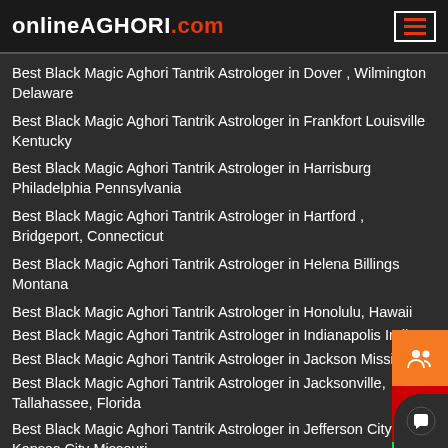onlineAGHORI.com
Best Black Magic Aghori Tantrik Astrologer in Dover , Wilmington Delaware
Best Black Magic Aghori Tantrik Astrologer in Frankfort Louisville Kentucky
Best Black Magic Aghori Tantrik Astrologer in Harrisburg Philadelphia Pennsylvania
Best Black Magic Aghori Tantrik Astrologer in Hartford , Bridgeport, Connecticut
Best Black Magic Aghori Tantrik Astrologer in Helena Billings Montana
Best Black Magic Aghori Tantrik Astrologer in Honolulu, Hawaii
Best Black Magic Aghori Tantrik Astrologer in Indianapolis Indiana
Best Black Magic Aghori Tantrik Astrologer in Jackson Mississippi
Best Black Magic Aghori Tantrik Astrologer in Jacksonville, Tallahassee, Florida
Best Black Magic Aghori Tantrik Astrologer in Jefferson City Kansas City Missouri